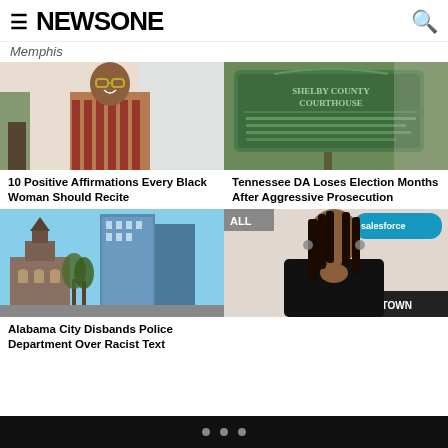NEWSONE
Memphis
[Figure (photo): A Black woman smiling, wearing striped shirt and glasses, standing near a plant]
10 Positive Affirmations Every Black Woman Should Recite
[Figure (photo): Shelby County Courthouse historical marker sign]
Tennessee DA Loses Election Months After Aggressive Prosecution
[Figure (photo): Alabama city skyline with old church and modern buildings]
Alabama City Disbands Police Department Over Racist Text
[Figure (photo): Woman at Salesforce event, wearing black dress, with long braids]